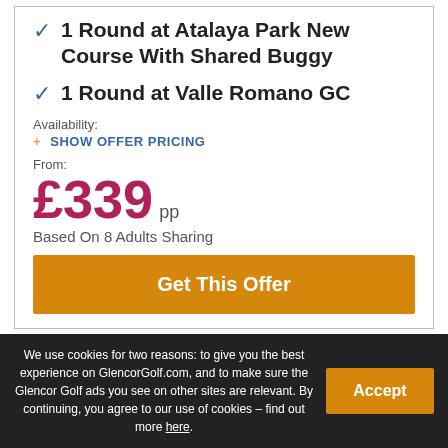1 Round at Atalaya Park New Course With Shared Buggy
1 Round at Valle Romano GC
Availability:
+ SHOW OFFER PRICING
From:
£339 pp
Based On 8 Adults Sharing
Get This Offer
We use cookies for two reasons: to give you the best experience on GlencorGolf.com, and to make sure the Glencor Golf ads you see on other sites are relevant. By continuing, you agree to our use of cookies – find out more here.
Accept